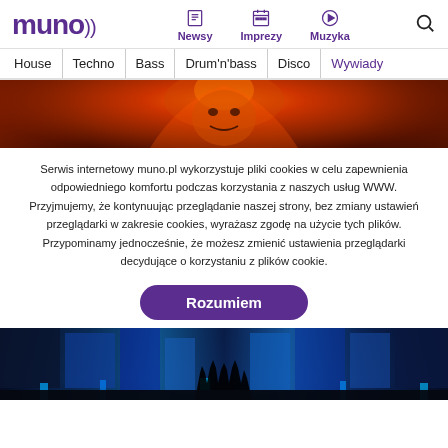muno.pl - Newsy, Imprezy, Muzyka
House | Techno | Bass | Drum'n'bass | Disco | Wywiady
[Figure (photo): Festival visual with fiery dramatic face/figure in orange and red tones]
Serwis internetowy muno.pl wykorzystuje pliki cookies w celu zapewnienia odpowiedniego komfortu podczas korzystania z naszych usług WWW. Przyjmujemy, że kontynuując przeglądanie naszej strony, bez zmiany ustawień przeglądarki w zakresie cookies, wyrażasz zgodę na użycie tych plików. Przypominamy jednocześnie, że możesz zmienić ustawienia przeglądarki decydujące o korzystaniu z plików cookie.
Rozumiem
[Figure (photo): Concert photo with blue stage lights and silhouetted hands raised in crowd]